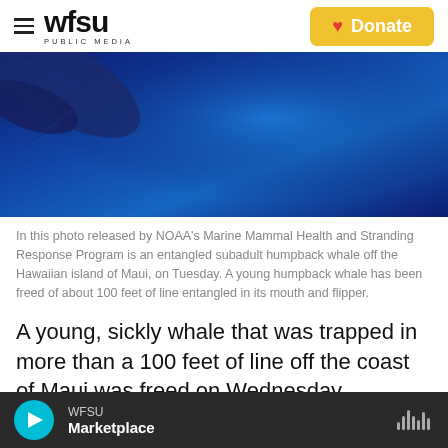WFSU PUBLIC MEDIA | Donate
[Figure (photo): Underwater photo of an entangled subadult humpback whale off the Hawaiian island of Maui, with dark blue water. Released by NOAA's Marine Mammal Health and Stranding Response Program.]
In this photo released by NOAA's Marine Mammal Health and Stranding Response Program is an entangled subadult humpback whale off the Hawaiian island of Maui, on Tuesday. A young humpback whale has been freed of about 100 feet of line entangled in its mouth and flipper.
A young, sickly whale that was trapped in more than a 100 feet of line off the coast of Maui was freed on Wednesday, following a harrowing rescue effort.
WFSU Marketplace